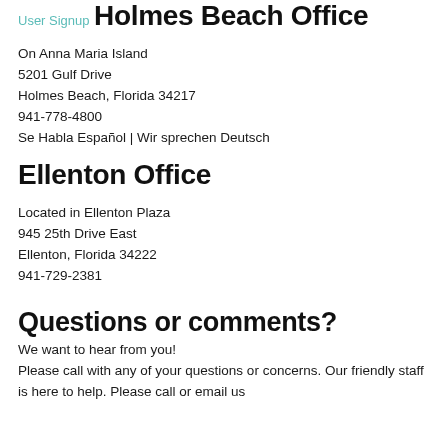User Signup
Holmes Beach Office
On Anna Maria Island
5201 Gulf Drive
Holmes Beach, Florida 34217
941-778-4800
Se Habla Español | Wir sprechen Deutsch
Ellenton Office
Located in Ellenton Plaza
945 25th Drive East
Ellenton, Florida 34222
941-729-2381
Questions or comments?
We want to hear from you!
Please call with any of your questions or concerns. Our friendly staff is here to help. Please call or email us